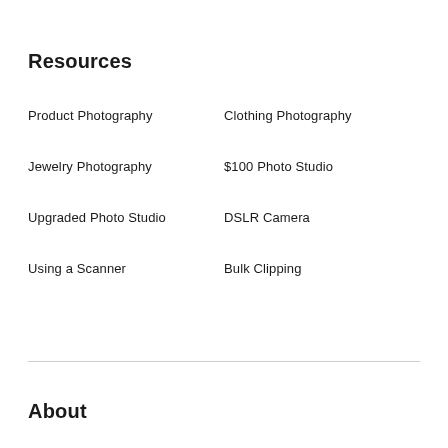Resources
Product Photography
Clothing Photography
Jewelry Photography
$100 Photo Studio
Upgraded Photo Studio
DSLR Camera
Using a Scanner
Bulk Clipping
About